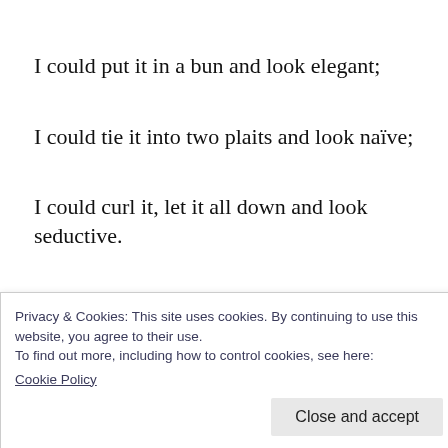I could put it in a bun and look elegant;
I could tie it into two plaits and look naïve;
I could curl it, let it all down and look seductive.
I could flick it, toss it, and shake it.
I could headbang with it.
Privacy & Cookies: This site uses cookies. By continuing to use this website, you agree to their use.
To find out more, including how to control cookies, see here:
Cookie Policy
Close and accept